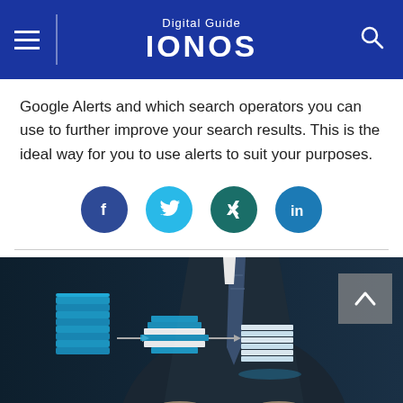Digital Guide IONOS
Google Alerts and which search operators you can use to further improve your search results. This is the ideal way for you to use alerts to suit your purposes.
[Figure (infographic): Social sharing buttons: Facebook, Twitter, XING, LinkedIn]
[Figure (photo): Business professional in suit with data flow / document processing illustration showing stacked documents and arrows, with a back-to-top chevron button overlay]